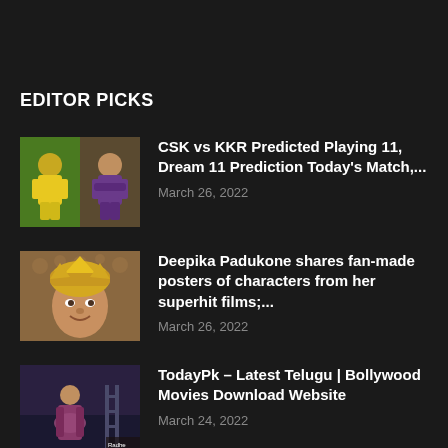EDITOR PICKS
CSK vs KKR Predicted Playing 11, Dream 11 Prediction Today's Match,...
March 26, 2022
Deepika Padukone shares fan-made posters of characters from her superhit films;...
March 26, 2022
TodayPk – Latest Telugu | Bollywood Movies Download Website
March 24, 2022
POPULAR POSTS